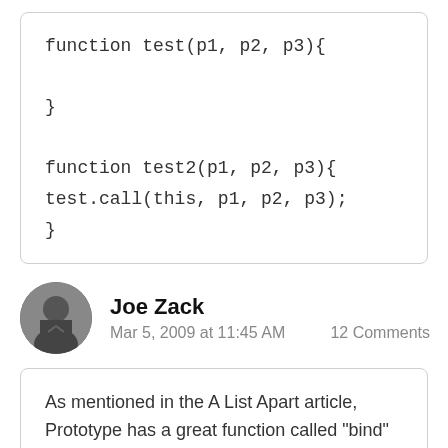[Figure (screenshot): Code block showing two JavaScript functions: function test(p1, p2, p3){ } and function test2(p1, p2, p3){ test.call(this, p1, p2, p3); }]
Joe Zack
Mar 5, 2009 at 11:45 AM    12 Comments
As mentioned in the A List Apart article, Prototype has a great function called "bind" which helps with this sort of thing.